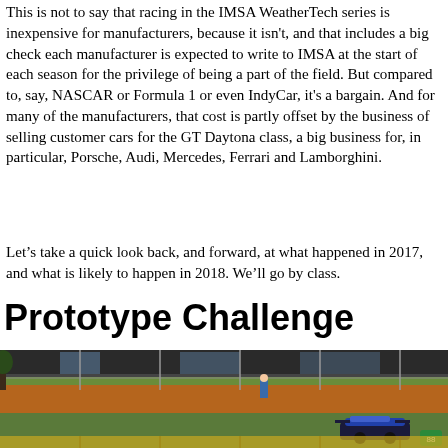This is not to say that racing in the IMSA WeatherTech series is inexpensive for manufacturers, because it isn't, and that includes a big check each manufacturer is expected to write to IMSA at the start of each season for the privilege of being a part of the field. But compared to, say, NASCAR or Formula 1 or even IndyCar, it's a bargain. And for many of the manufacturers, that cost is partly offset by the business of selling customer cars for the GT Daytona class, a big business for, in particular, Porsche, Audi, Mercedes, Ferrari and Lamborghini.
Let's take a quick look back, and forward, at what happened in 2017, and what is likely to happen in 2018. We'll go by class.
Prototype Challenge
[Figure (photo): A racing car on a track with spectators and officials visible in the background. The track has barriers and fencing visible.]